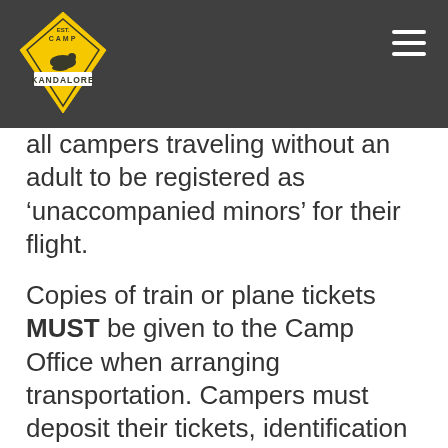[Figure (logo): Camp Kandalore yellow diamond logo with loon silhouette]
all campers traveling without an adult to be registered as ‘unaccompanied minors’ for their flight.
Copies of train or plane tickets MUST be given to the Camp Office when arranging transportation. Campers must deposit their tickets, identification and any money at the Camp Office for safe-keeping upon their arrival in Camp.
Bus Pick up & Drop off from Toronto